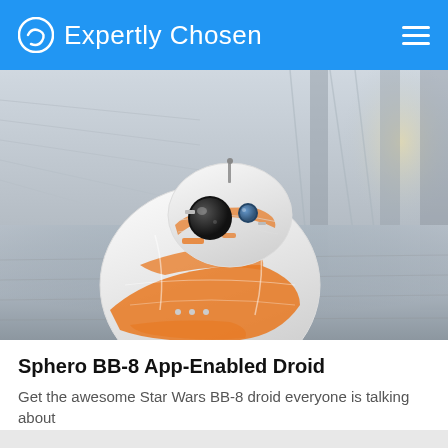Expertly Chosen
[Figure (photo): Photo of a Sphero BB-8 App-Enabled Droid toy robot rolling on a reflective floor in a bright modern building interior. The droid is white and orange with a round body and a separate spherical head.]
Sphero BB-8 App-Enabled Droid
Get the awesome Star Wars BB-8 droid everyone is talking about